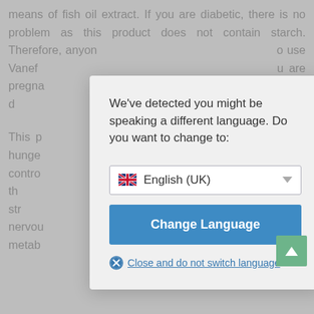means of fish oil extract. If you are diabetic, there is no problem as this product does not contain starch. Therefore, anyone ... to use Vanefi... you are pregna... consult your d...
This p... all your hunge... nt for contro... s 434 mg, th... serves to str... central nervou... body metab... turer's website.
[Figure (screenshot): A browser language-switch dialog modal overlay. The modal contains: a message 'We've detected you might be speaking a different language. Do you want to change to:', a dropdown showing 'English (UK)' with a UK flag icon, a blue 'Change Language' button, and a 'Close and do not switch language' link with an X icon.]
[Figure (other): Green scroll-to-top button with upward arrow, positioned bottom-right of page.]